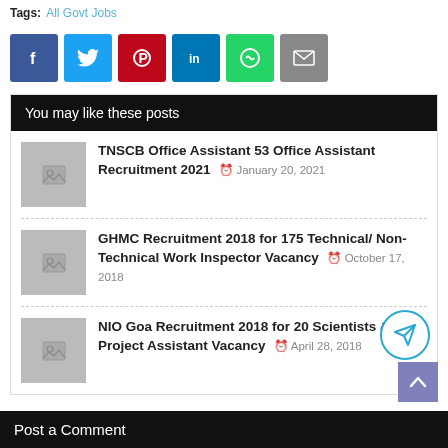Tags: All Govt Jobs
[Figure (other): Social sharing buttons: Facebook, Twitter, Pinterest, LinkedIn, WhatsApp, Email]
You may like these posts
TNSCB Office Assistant 53 Office Assistant Recruitment 2021 - January 20, 2021
GHMC Recruitment 2018 for 175 Technical/ Non-Technical Work Inspector Vacancy - October 17, 2018
NIO Goa Recruitment 2018 for 20 Scientists & 2 Project Assistant Vacancy - April 28, 2018
Post a Comment